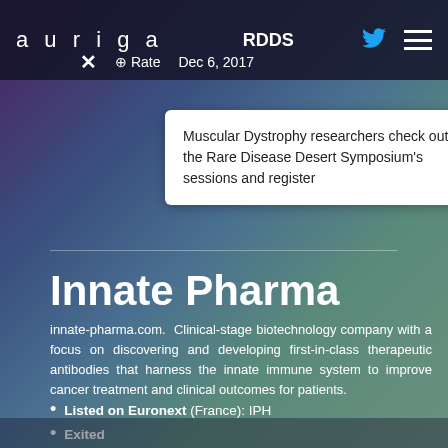auriga   RDDS   Dec 6, 2017
Muscular Dystrophy researchers check out the Rare Disease Desert Symposium's sessions and register
Innate Pharma
innate-pharma.com. Clinical-stage biotechnology company with a focus on discovering and developing first-in-class therapeutic antibodies that harness the innate immune system to improve cancer treatment and clinical outcomes for patients.
Listed on Euronext (France): IPH
Exited